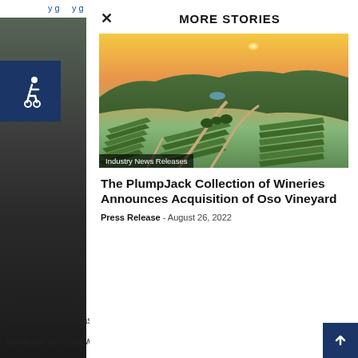…y g … y g … p … y
MORE STORIES
[Figure (photo): Aerial drone photograph of Oso Vineyard showing rows of grapevines, winding dirt roads, a pond, and forested hills in the background with a golden sunset sky. Badge text: Industry News Releases]
The PlumpJack Collection of Wineries Announces Acquisition of Oso Vineyard
Press Release - August 26, 2022
Of her quest to … but we're lookin…
We'd like to increase our verticals. Pairings are fun with verticals… because you can work with the vintage differences to play with t…